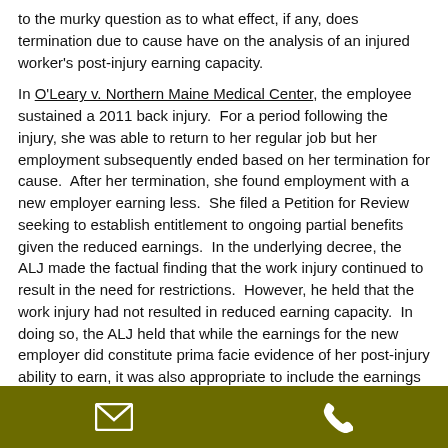to the murky question as to what effect, if any, does termination due to cause have on the analysis of an injured worker's post-injury earning capacity.
In O'Leary v. Northern Maine Medical Center, the employee sustained a 2011 back injury. For a period following the injury, she was able to return to her regular job but her employment subsequently ended based on her termination for cause. After her termination, she found employment with a new employer earning less. She filed a Petition for Review seeking to establish entitlement to ongoing partial benefits given the reduced earnings. In the underlying decree, the ALJ made the factual finding that the work injury continued to result in the need for restrictions. However, he held that the work injury had not resulted in reduced earning capacity. In doing so, the ALJ held that while the earnings for the new employer did constitute prima facie evidence of her post-injury ability to earn, it was also appropriate to include the earnings from the job she lost in his analysis given that the termination was due to her own fault. Since she was earning consistent with her pre-injury average weekly wage prior to her termination, the ALJ concluded that the
email and phone icons